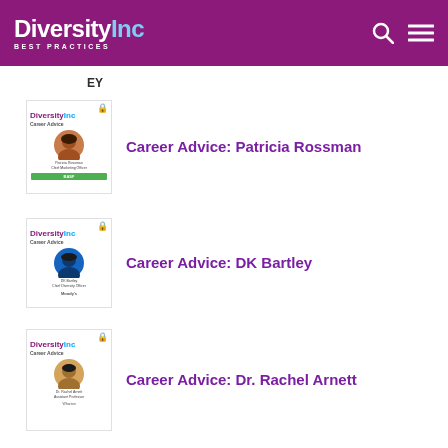DiversityInc BEST PRACTICES
[Figure (logo): EY logo small thumbnail]
Career Advice: Patricia Rossman
Career Advice: DK Bartley
Career Advice: Dr. Rachel Arnett